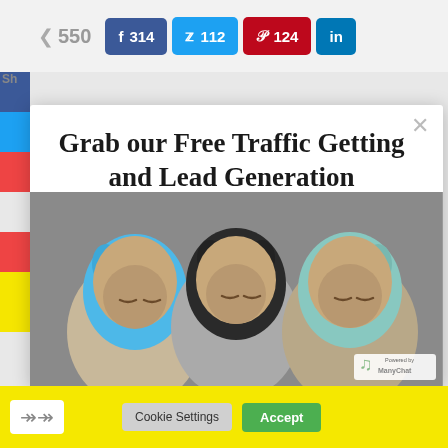[Figure (screenshot): Social share bar showing Facebook 314, Twitter 112, Pinterest 124, and LinkedIn buttons with a share count of 550]
Grab our Free Traffic Getting and Lead Generation CheatSheet.
We Promise it does what it says on the bottle, and doesn't bite :) Not much! Unless you hate cute kitties!
[Figure (photo): Three cats wearing colorful knitted hoods/hats — blue, black, and teal — with sleepy expressions]
Cookie Settings   Accept